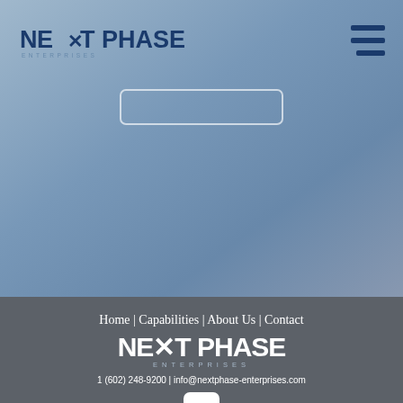[Figure (logo): Next Phase Enterprises logo in dark blue, top left of white header bar]
[Figure (other): Hamburger menu icon (three horizontal dark blue bars) in top right of white header bar]
[Figure (photo): Blue blurred background hero image with a faint rounded rectangle outline overlay]
Home  Capabilities  About Us  Contact
[Figure (logo): Next Phase Enterprises logo in white on dark gray footer background]
1 (602) 248-9200  |  info@nextphase-enterprises.com
[Figure (other): LinkedIn icon - white 'in' on rounded square background]
Copyright © 2021 All Rights Reserved.  Privacy  |  Terms